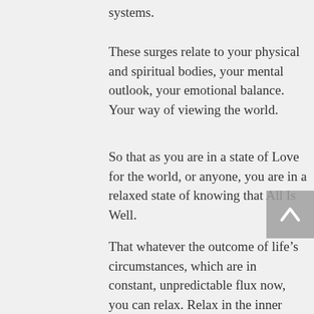systems.
These surges relate to your physical and spiritual bodies, your mental outlook, your emotional balance. Your way of viewing the world.
So that as you are in a state of Love for the world, or anyone, you are in a relaxed state of knowing that All Is Well.
That whatever the outcome of life’s circumstances, which are in constant, unpredictable flux now, you can relax. Relax in the inner Knowing that all is working out for the higher good of everyone on the planet.